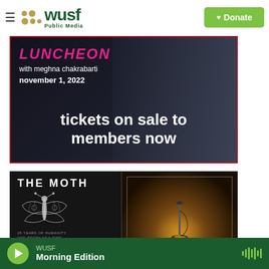WUSF Public Media — Donate
[Figure (photo): Luncheon event banner with Meghna Chakrabarti. Text: LUNCHEON with meghna chakrabarti november 1, 2022 tickets on sale to members now]
[Figure (photo): The Moth banner: 25 Years of Humanity One Story at a Time, with moth illustration and stage microphone photo]
WUSF Morning Edition